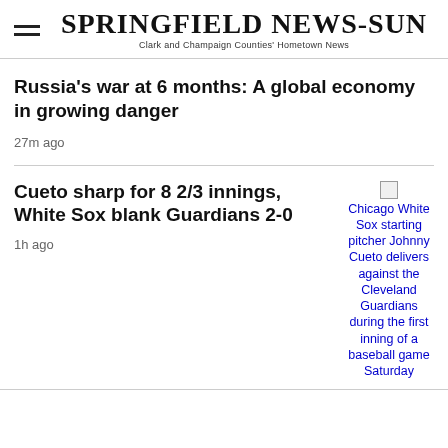Springfield News-Sun — Clark and Champaign Counties' Hometown News
Russia's war at 6 months: A global economy in growing danger
27m ago
Cueto sharp for 8 2/3 innings, White Sox blank Guardians 2-0
1h ago
[Figure (photo): Broken image placeholder for Chicago White Sox starting pitcher Johnny Cueto delivers against the Cleveland Guardians during the first inning of a baseball game Saturday]
Chicago White Sox starting pitcher Johnny Cueto delivers against the Cleveland Guardians during the first inning of a baseball game Saturday